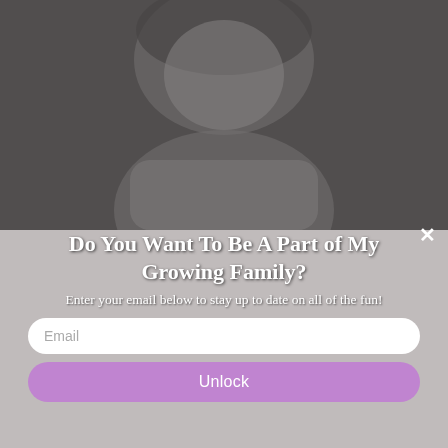[Figure (photo): A food photograph showing what appears to be a pineapple cake or dessert on a dark granite/stone surface, viewed from above.]
While the crushed pineapple is draining, you will want to place cherries in the middle of the rings.  ***Remember to place
[Figure (photo): A black and white photograph of a child or young person used as the background of a modal/popup overlay.]
Do You Want To Be A Part of My Growing Family?
Enter your email below to stay up to date on all of the fun!
Email
Unlock